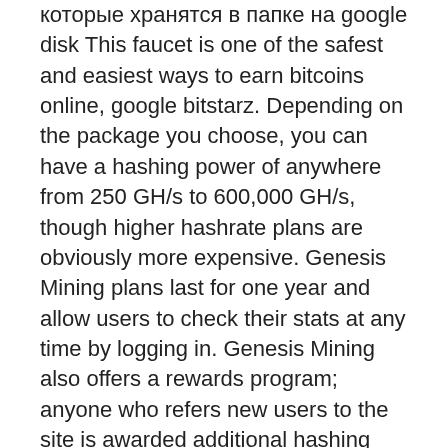которые хранятся в папке на google disk This faucet is one of the safest and easiest ways to earn bitcoins online, google bitstarz. Depending on the package you choose, you can have a hashing power of anywhere from 250 GH/s to 600,000 GH/s, though higher hashrate plans are obviously more expensive. Genesis Mining plans last for one year and allow users to check their stats at any time by logging in. Genesis Mining also offers a rewards program; anyone who refers new users to the site is awarded additional hashing power, bitstarz28.com/ru. Genesis Mining also does not charge maintenance fees, allowing its users to get paid the maximum profit from their investments. Genesis Mining is not ideal for serious miners, as in the long-run, its packages cost more than purchasing a mining rig. Bitstarz mobile guide and newsandroid 1. 1 загрузка и установка apk. Лучшее приложение для мобильного гида и